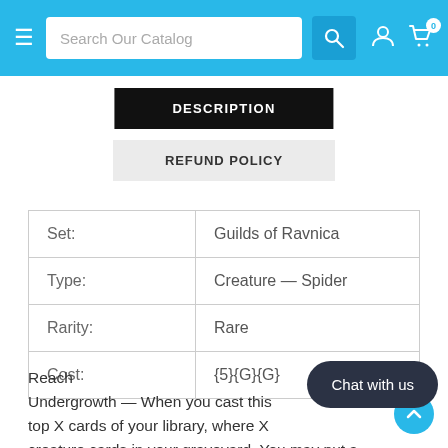Search Our Catalog
DESCRIPTION
REFUND POLICY
| Set: | Guilds of Ravnica |
| Type: | Creature — Spider |
| Rarity: | Rare |
| Cost: | {5}{G}{G} |
Reach
Undergrowth — When you cast this spell, look at the top X cards of your library, where X is the number of creature cards in your graveyard. You may put a